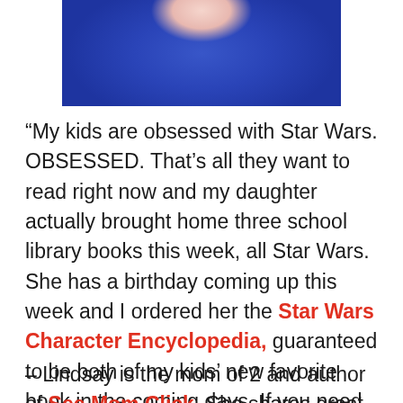[Figure (photo): Partial photo of a woman wearing a blue top, cropped at the top of the page showing face and upper body]
“My kids are obsessed with Star Wars. OBSESSED. That’s all they want to read right now and my daughter actually brought home three school library books this week, all Star Wars. She has a birthday coming up this week and I ordered her the Star Wars Character Encyclopedia, guaranteed to be both of my kids’ new favorite book in the coming days. If you need to know anything about any Star Wars or Clone Wars character, you know where to find me. I’ll get your question to the little experts that live in my house and get back to you. ;)"
– Lindsay is the mom of 2 and author of See Mom Click. She shares great deals, Disney happenings